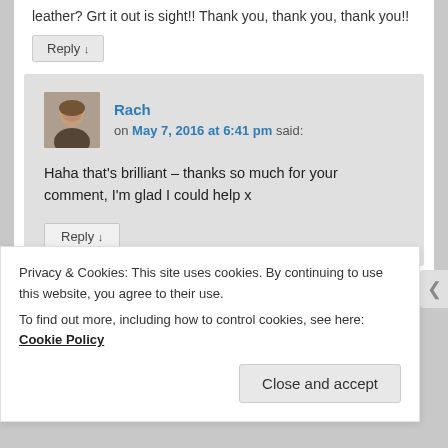leather? Grt it out is sight!! Thank you, thank you, thank you!!
Reply ↓
Rach on May 7, 2016 at 6:41 pm said:
Haha that's brilliant – thanks so much for your comment, I'm glad I could help x
Reply ↓
Privacy & Cookies: This site uses cookies. By continuing to use this website, you agree to their use. To find out more, including how to control cookies, see here: Cookie Policy
Close and accept